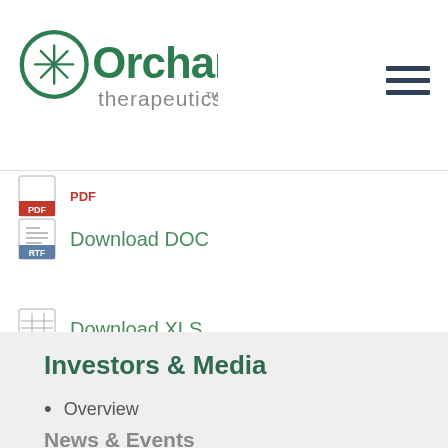[Figure (logo): Orchard Therapeutics logo — green circle with snowflake/asterisk symbol, 'Orchard' in large dark green text, 'therapeutics' in smaller gray text below]
PDF (partially visible)
Download DOC
Download XLS
Investors & Media
Overview
News & Events
News & Press Releases
Events
Presentations